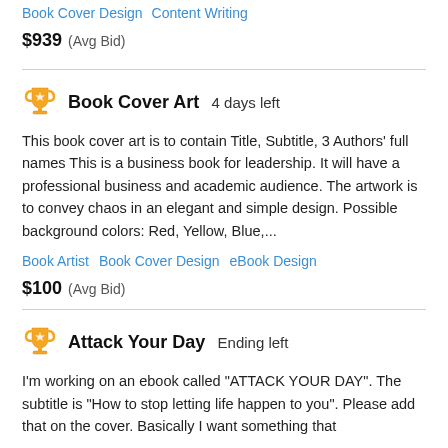Book Cover Design  Content Writing
$939  (Avg Bid)
Book Cover Art  4 days left
This book cover art is to contain Title, Subtitle, 3 Authors' full names This is a business book for leadership. It will have a professional business and academic audience. The artwork is to convey chaos in an elegant and simple design. Possible background colors: Red, Yellow, Blue,...
Book Artist   Book Cover Design   eBook Design
$100  (Avg Bid)
Attack Your Day  Ending left
I'm working on an ebook called "ATTACK YOUR DAY". The subtitle is "How to stop letting life happen to you". Please add that on the cover. Basically I want something that